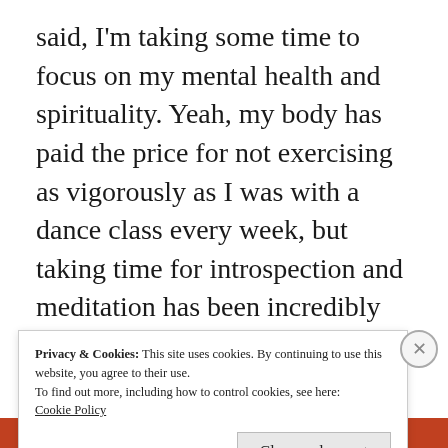said, I'm taking some time to focus on my mental health and spirituality. Yeah, my body has paid the price for not exercising as vigorously as I was with a dance class every week, but taking time for introspection and meditation has been incredibly beneficial mentally and emotionally. I know that dance can be of the same benefit, when I'm ready to return to it. I'll probably be doing more self-study for a while, and that's okay.
Privacy & Cookies: This site uses cookies. By continuing to use this website, you agree to their use.
To find out more, including how to control cookies, see here:
Cookie Policy